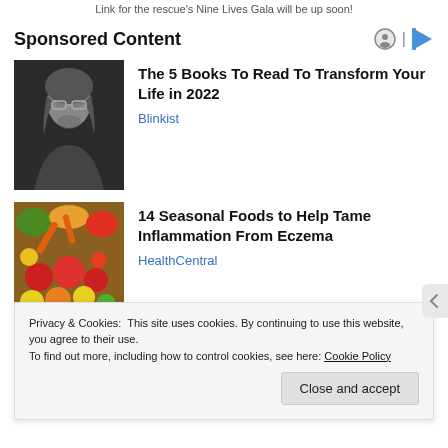Link for the rescue's Nine Lives Gala will be up soon!
Sponsored Content
[Figure (photo): Black and white photo of a young man with glasses and long hair]
The 5 Books To Read To Transform Your Life in 2022
Blinkist
[Figure (photo): Colorful photo of a variety of seasonal fruits and vegetables]
14 Seasonal Foods to Help Tame Inflammation From Eczema
HealthCentral
Privacy & Cookies: This site uses cookies. By continuing to use this website, you agree to their use.
To find out more, including how to control cookies, see here: Cookie Policy